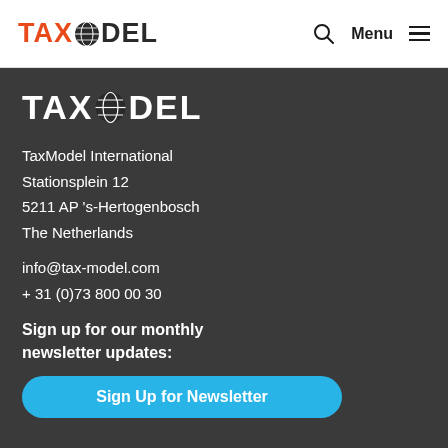TAXMODEL  Q  Menu
[Figure (logo): TaxModel logo in white on dark background]
TaxModel International
Stationsplein 12
5211 AP 's-Hertogenbosch
The Netherlands
info@tax-model.com
+ 31 (0)73 800 00 30
Sign up for our monthly newsletter updates:
Sign Up for Newsletter